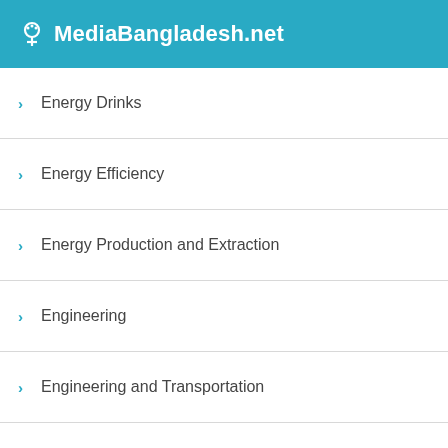MediaBangladesh.net
Energy Drinks
Energy Efficiency
Energy Production and Extraction
Engineering
Engineering and Transportation
England
Enterprise Applications
Entertaining and Holidays
Entertainment
Entertaining and Games